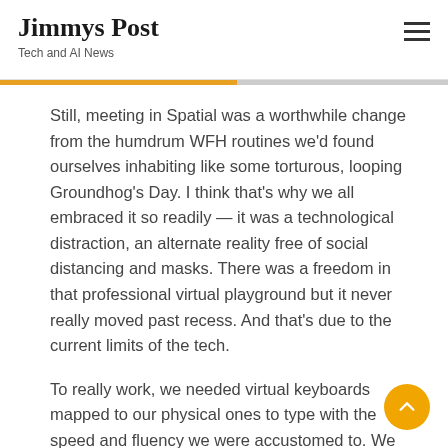Jimmys Post
Tech and AI News
Still, meeting in Spatial was a worthwhile change from the humdrum WFH routines we’d found ourselves inhabiting like some torturous, looping Groundhog’s Day. I think that’s why we all embraced it so readily — it was a technological distraction, an alternate reality free of social distancing and masks. There was a freedom in that professional virtual playground but it never really moved past recess. And that’s due to the current limits of the tech.
To really work, we needed virtual keyboards mapped to our physical ones to type with the speed and fluency we were accustomed to. We